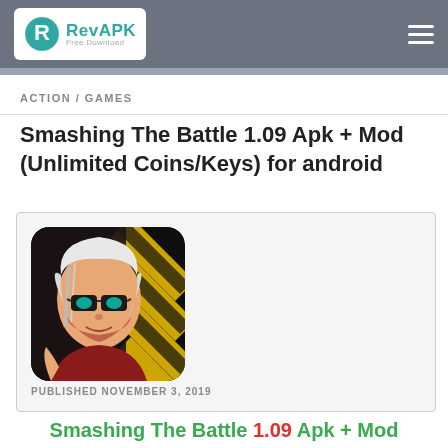RevAPK Free Download
ACTION / GAMES
Smashing The Battle 1.09 Apk + Mod (Unlimited Coins/Keys) for android
[Figure (screenshot): Card containing game artwork for Smashing The Battle — anime-style character with white hair and yellow-striped background — and published date PUBLISHED NOVEMBER 3, 2019]
Smashing The Battle 1.09 Apk + Mod